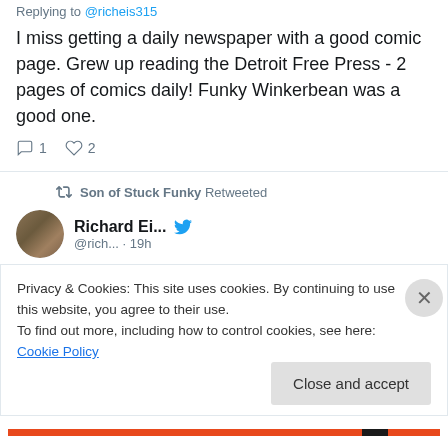Replying to @richeis315
I miss getting a daily newspaper with a good comic page. Grew up reading the Detroit Free Press - 2 pages of comics daily! Funky Winkerbean was a good one.
1 reply, 2 likes
Son of Stuck Funky Retweeted
Richard Ei... @rich... · 19h
Privacy & Cookies: This site uses cookies. By continuing to use this website, you agree to their use.
To find out more, including how to control cookies, see here: Cookie Policy